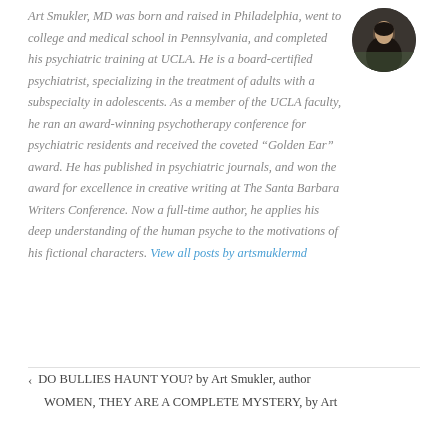[Figure (photo): Circular avatar/portrait photo of Art Smukler MD, a man in dark clothing against an outdoor background]
Art Smukler, MD was born and raised in Philadelphia, went to college and medical school in Pennsylvania, and completed his psychiatric training at UCLA. He is a board-certified psychiatrist, specializing in the treatment of adults with a subspecialty in adolescents. As a member of the UCLA faculty, he ran an award-winning psychotherapy conference for psychiatric residents and received the coveted “Golden Ear” award. He has published in psychiatric journals, and won the award for excellence in creative writing at The Santa Barbara Writers Conference. Now a full-time author, he applies his deep understanding of the human psyche to the motivations of his fictional characters. View all posts by artsmuklermd
< DO BULLIES HAUNT YOU? by Art Smukler, author
WOMEN, THEY ARE A COMPLETE MYSTERY, by Art